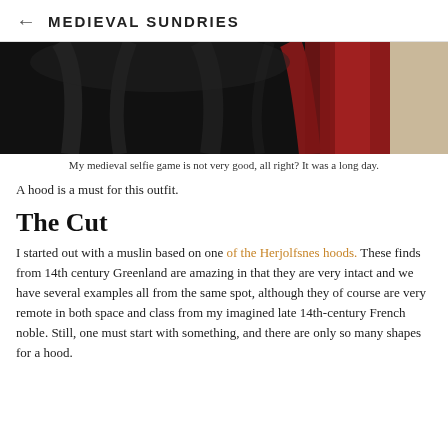← MEDIEVAL SUNDRIES
[Figure (photo): A black and red medieval garment/hood photographed from close up, partially cropped at the top of the page.]
My medieval selfie game is not very good, all right?  It was a long day.
A hood is a must for this outfit.
The Cut
I started out with a muslin based on one of the Herjolfsnes hoods.  These finds from 14th century Greenland are amazing in that they are very intact and we have several examples all from the same spot, although they of course are very remote in both space and class from my imagined late 14th-century French noble.  Still, one must start with something, and there are only so many shapes for a hood.